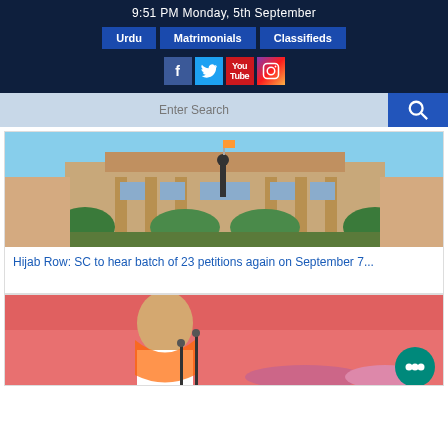9:51 PM Monday, 5th September
Urdu | Matrimonials | Classifieds
[Figure (screenshot): Social media icons: Facebook, Twitter, YouTube, Instagram]
[Figure (screenshot): Search bar with search icon]
[Figure (photo): Supreme Court of India building exterior with gardens]
Hijab Row: SC to hear batch of 23 petitions again on September 7...
[Figure (photo): Indian politician speaking at a public event with pink backdrop, chat button overlay]